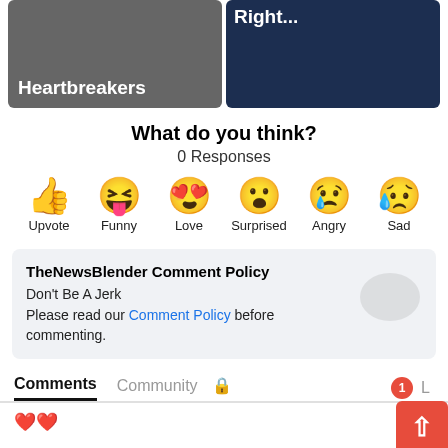[Figure (screenshot): Two thumbnail images side by side at top: left shows 'Tom Petty & the Heartbreakers' on dark gray background; right shows 'Should Be a Right...' on dark navy background with chart]
What do you think?
0 Responses
[Figure (infographic): Six emoji reaction buttons in a row: Upvote (thumbs up), Funny (laughing face with tongue), Love (heart eyes), Surprised (open mouth), Angry (crying/angry), Sad (crying face). Labels below each emoji.]
TheNewsBlender Comment Policy
Don't Be A Jerk
Please read our Comment Policy before commenting.
Comments  Community  🔒   1  L